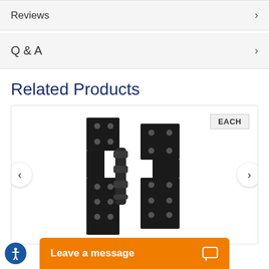Reviews
Q & A
Related Products
[Figure (photo): Black parliament / offset hinge product photo on white background, with EACH badge in upper right corner. Left and right navigation arrows on sides of product card.]
Leave a message